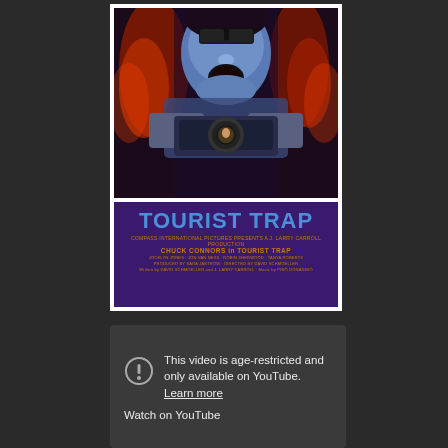[Figure (photo): Movie poster for 'Tourist Trap' (1979). Features a horror figure with a blue/white painted face and open screaming mouth at the top, holding a camera with a terrified woman visible in the lens. Bottom section has purple background with blue bold text 'TOURIST TRAP' and orange credits reading 'CHUCK CONNORS in TOURIST TRAP' with additional cast and crew credits.]
[Figure (screenshot): YouTube age-restriction message panel with a dark gray background. Shows a circle exclamation warning icon on the left, and text on the right reading 'This video is age-restricted and only available on YouTube. Learn more' with 'Learn more' underlined. Below is partial text 'Watch on YouTube'.]